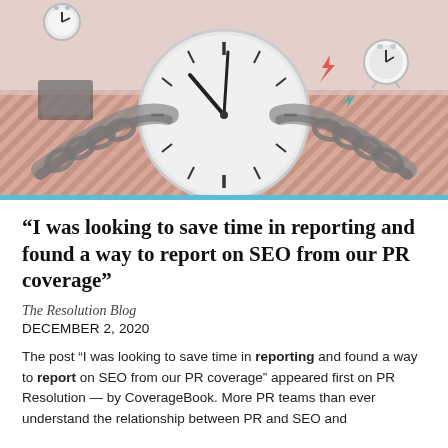[Figure (illustration): Hero image showing hands holding a large clock face, with a pink/salmon diagonal striped background, decorative clock icons in corners, and small lightning bolt accents. Black and white photography style with colored background elements.]
“I was looking to save time in reporting and found a way to report on SEO from our PR coverage”
The Resolution Blog
DECEMBER 2, 2020
The post “I was looking to save time in reporting and found a way to report on SEO from our PR coverage” appeared first on PR Resolution — by CoverageBook. More PR teams than ever understand the relationship between PR and SEO and